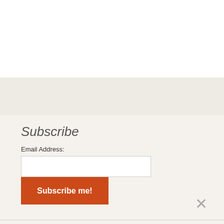Subscribe
Email Address:
Subscribe me!
Blogs List
EverythingEveryWhere
The Gate